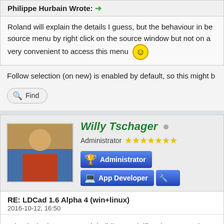Philippe Hurbain Wrote: →
Roland will explain the details I guess, but the behaviour in be source menu by right click on the source window but not on a very convenient to access this menu 😊
Follow selection (on new) is enabled by default, so this might b
🔍 Find
Willy Tschager ● Administrator ★★★★★★★
Administrator | App Developer
RE: LDCad 1.6 Alpha 4 (win+linux)
2016-10-12, 16:50
What is the best approach building a minifig, since LDCad doesn't h
* Build it from scratch taking advantage of the connections